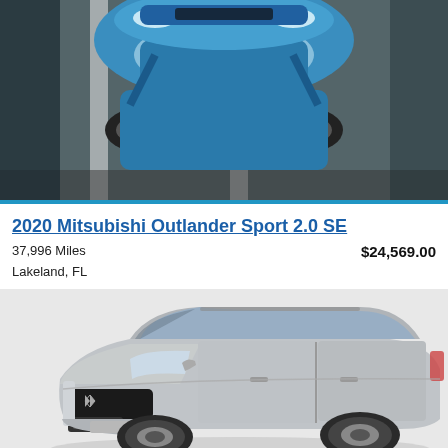[Figure (photo): Top portion of a blue Mitsubishi Outlander Sport SUV photographed from above/front on a parking lot with white lane markings]
2020 Mitsubishi Outlander Sport 2.0 SE
37,996 Miles
Lakeland, FL
$24,569.00
[Figure (photo): Silver/gray 2020 Mitsubishi Outlander Sport 2.0 SE SUV shown in a 3/4 front view on a white background, showing the front grille with Mitsubishi logo, headlights, and side profile]